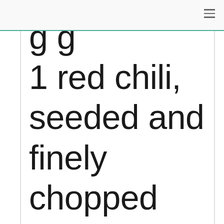1 red chili, seeded and finely chopped (may substitute red bell pepper)